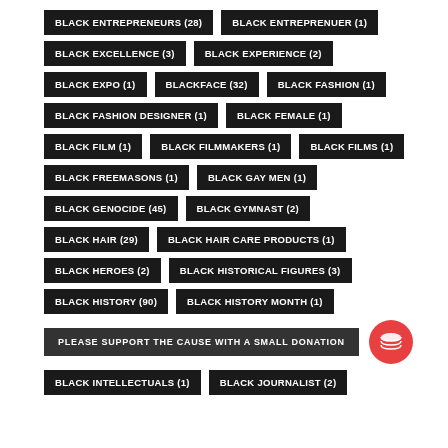BLACK ENTREPRENEURS (28)
BLACK ENTREPRENUER (1)
BLACK EXCELLENCE (3)
BLACK EXPERIENCE (2)
BLACK EXPO (1)
BLACKFACE (32)
BLACK FASHION (1)
BLACK FASHION DESIGNER (1)
BLACK FEMALE (1)
BLACK FILM (1)
BLACK FILMMAKERS (1)
BLACK FILMS (1)
BLACK FREEMASONS (1)
BLACK GAY MEN (1)
BLACK GENOCIDE (45)
BLACK GYMNAST (2)
BLACK HAIR (29)
BLACK HAIR CARE PRODUCTS (1)
BLACK HEROES (2)
BLACK HISTORICAL FIGURES (3)
BLACK HISTORY (90)
BLACK HISTORY MONTH (1)
PLEASE SUPPORT THE CAUSE WITH A SMALL DONATION
BLACK INTELLECTUALS (1)
BLACK JOURNALIST (2)